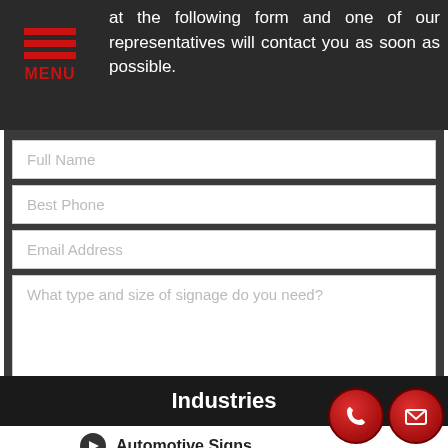[Figure (other): Hamburger menu icon with three red horizontal bars and red MENU text on dark background]
at the following form and one of our representatives will contact you as soon as possible.
[Figure (other): Web contact form with fields: Full Name, Best Phone, Email Address, What type and size of signage do you need?, and a red REQUEST MY QUOTE button]
Industries
Automotive Signs
Bank Signs